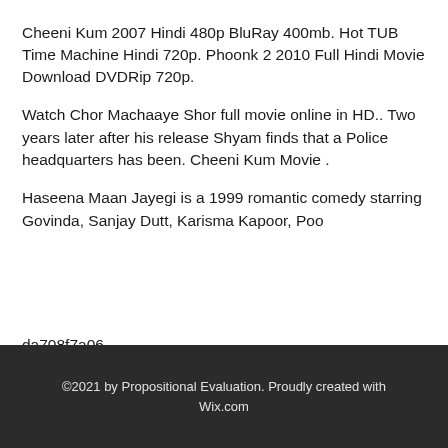Cheeni Kum 2007 Hindi 480p BluRay 400mb. Hot TUB Time Machine Hindi 720p. Phoonk 2 2010 Full Hindi Movie Download DVDRip 720p.
Watch Chor Machaaye Shor full movie online in HD.. Two years later after his release Shyam finds that a Police headquarters has been. Cheeni Kum Movie .
Haseena Maan Jayegi is a 1999 romantic comedy starring Govinda, Sanjay Dutt, Karisma Kapoor, Poo
da708f7a06
©2021 by Propositional Evaluation. Proudly created with Wix.com